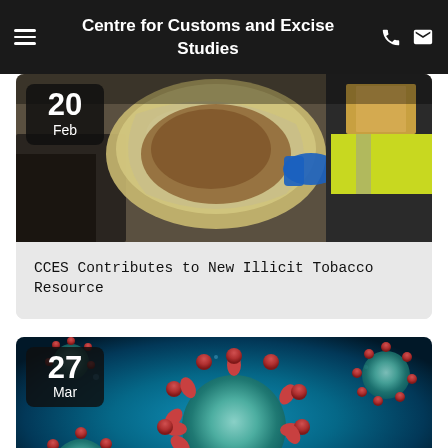Centre for Customs and Excise Studies
[Figure (photo): Person in yellow high-visibility vest inspecting a large bag of loose tobacco at a warehouse. Date badge shows 20 Feb.]
CCES Contributes to New Illicit Tobacco Resource
[Figure (photo): 3D illustration of coronavirus particles on a blue background. Date badge shows 27 Mar.]